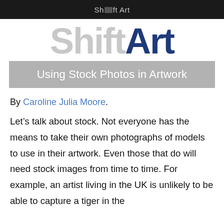Shift Art
[Figure (logo): Shift Art logo with 'Shift' in light gray and 'Art' in dark navy blue, large bold font]
Using Stock Photos in Artwork
By Caroline Julia Moore.
Let’s talk about stock. Not everyone has the means to take their own photographs of models to use in their artwork. Even those that do will need stock images from time to time. For example, an artist living in the UK is unlikely to be able to capture a tiger in the